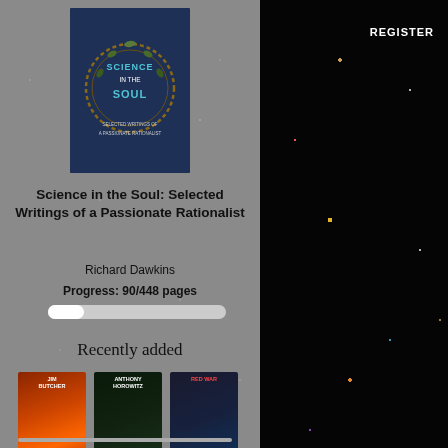[Figure (screenshot): Left panel: book reading app on starry grey background. Right panel: deep space/galaxy photo on black background.]
REGISTER
[Figure (photo): Book cover: Science in the Soul: Selected Writings of a Passionate Rationalist]
Science in the Soul: Selected Writings of a Passionate Rationalist
Richard Dawkins
Progress: 90/448 pages
Recently added
[Figure (photo): Book cover: Battle Ground by Jim Butcher]
[Figure (photo): Book cover: Magpie Murders (Moriarty?) by Anthony Horowitz]
[Figure (photo): Book cover: Red War by Vince Flynn]